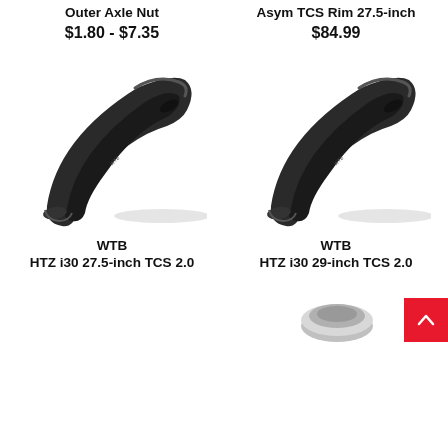Outer Axle Nut
$1.80 - $7.35
Asym TCS Rim 27.5-inch
$84.99
[Figure (photo): WTB HTZ i30 27.5-inch TCS 2.0 bicycle rim segment shown at an angle, black]
[Figure (photo): WTB HTZ i30 29-inch TCS 2.0 bicycle rim segment shown at an angle, black]
WTB
HTZ i30 27.5-inch TCS 2.0
WTB
HTZ i30 29-inch TCS 2.0
[Figure (photo): Partial view of a silver/chrome bicycle component at bottom right, partially cut off]